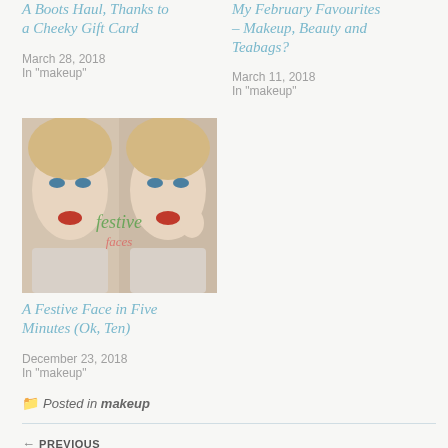A Boots Haul, Thanks to a Cheeky Gift Card
March 28, 2018
In "makeup"
My February Favourites – Makeup, Beauty and Teabags?
March 11, 2018
In "makeup"
[Figure (photo): Two side-by-side photos of a blonde woman wearing red lipstick and makeup, with a festive watermark overlay in green script]
A Festive Face in Five Minutes (Ok, Ten)
December 23, 2018
In "makeup"
Posted in makeup
← PREVIOUS